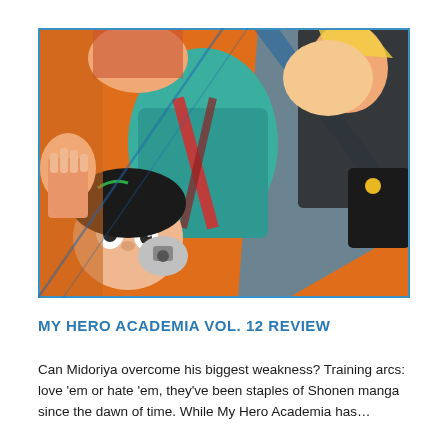[Figure (illustration): My Hero Academia manga artwork showing characters including Midoriya in a dynamic action composition with orange background, teal costume, and multiple characters overlapping in a chaotic battle scene.]
MY HERO ACADEMIA VOL. 12 REVIEW
Can Midoriya overcome his biggest weakness? Training arcs: love 'em or hate 'em, they've been staples of Shonen manga since the dawn of time. While My Hero Academia has...